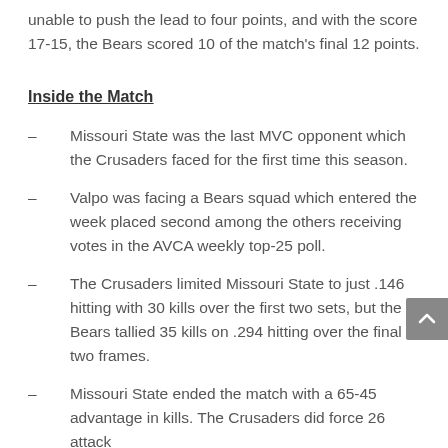unable to push the lead to four points, and with the score 17-15, the Bears scored 10 of the match's final 12 points.
Inside the Match
– Missouri State was the last MVC opponent which the Crusaders faced for the first time this season.
– Valpo was facing a Bears squad which entered the week placed second among the others receiving votes in the AVCA weekly top-25 poll.
– The Crusaders limited Missouri State to just .146 hitting with 30 kills over the first two sets, but the Bears tallied 35 kills on .294 hitting over the final two frames.
– Missouri State ended the match with a 65-45 advantage in kills. The Crusaders did force 26 attack